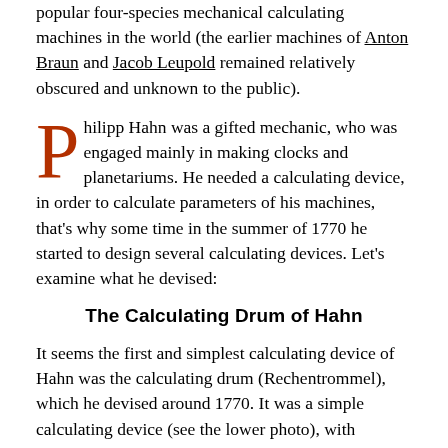popular four-species mechanical calculating machines in the world (the earlier machines of Anton Braun and Jacob Leupold remained relatively obscured and unknown to the public).
Philipp Hahn was a gifted mechanic, who was engaged mainly in making clocks and planetariums. He needed a calculating device, in order to calculate parameters of his machines, that's why some time in the summer of 1770 he started to design several calculating devices. Let's examine what he devised:
The Calculating Drum of Hahn
It seems the first and simplest calculating device of Hahn was the calculating drum (Rechentrommel), which he devised around 1770. It was a simple calculating device (see the lower photo), with manually rotated inscribed scales, used for adding numbers.